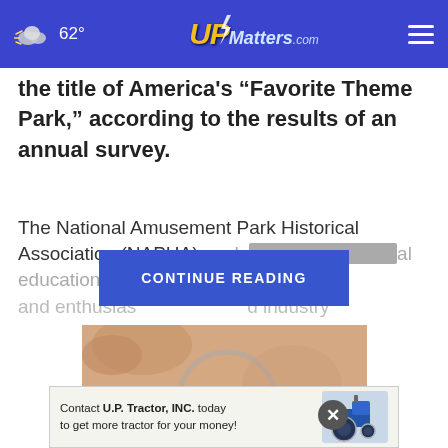62° UPMatters.com
the title of America's “Favorite Theme Park,” according to the results of an annual survey.
The National Amusement Park Historical Association (NAPHA) — de[...] al educational and enthusias[...] d industry
CONTINUE READING
[Figure (photo): Close-up photo of skin being examined with a magnifying glass showing a mole]
[Figure (infographic): Advertisement banner: Contact U.P. Tractor, INC. today to get more tractor for your money! with image of blue tractor]